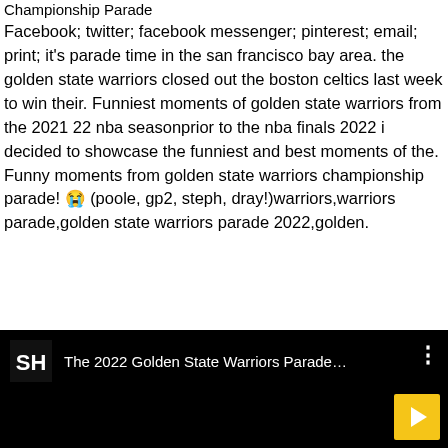Championship Parade
Facebook; twitter; facebook messenger; pinterest; email; print; it's parade time in the san francisco bay area. the golden state warriors closed out the boston celtics last week to win their. Funniest moments of golden state warriors from the 2021 22 nba seasonprior to the nba finals 2022 i decided to showcase the funniest and best moments of the. Funny moments from golden state warriors championship parade! 😭 (poole, gp2, steph, dray!)warriors,warriors parade,golden state warriors parade 2022,golden.
[Figure (screenshot): Black video player bar with a logo showing 'SH' initials, text reading 'The 2022 Golden State Warriors Parade...' and a yellow play button in the bottom right corner]